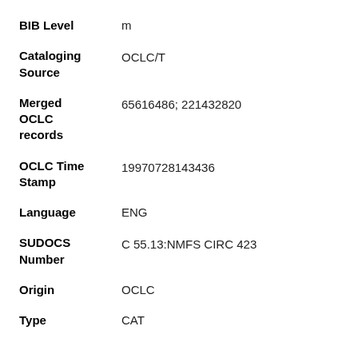BIB Level   m
Cataloging Source   OCLC/T
Merged OCLC records   65616486; 221432820
OCLC Time Stamp   19970728143436
Language   ENG
SUDOCS Number   C 55.13:NMFS CIRC 423
Origin   OCLC
Type   CAT